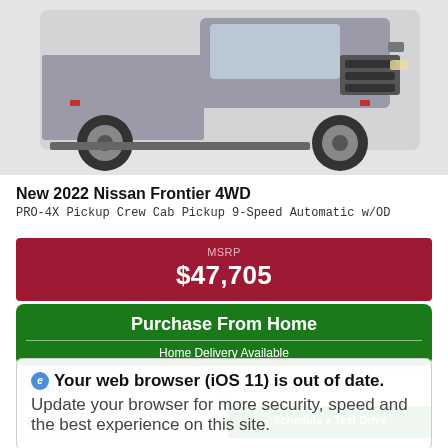[Figure (photo): Front 3/4 view of a gray 2022 Nissan Frontier 4WD PRO-4X pickup truck on a white background]
New 2022 Nissan Frontier 4WD
PRO-4X Pickup Crew Cab Pickup 9-Speed Automatic w/OD
MSRP $47,705
Purchase From Home
Home Delivery Available
*First Name  *Last Name
Your web browser (iOS 11) is out of date. Update your browser for more security, speed and the best experience on this site.
Email  Schedule a Test Drive
Phone